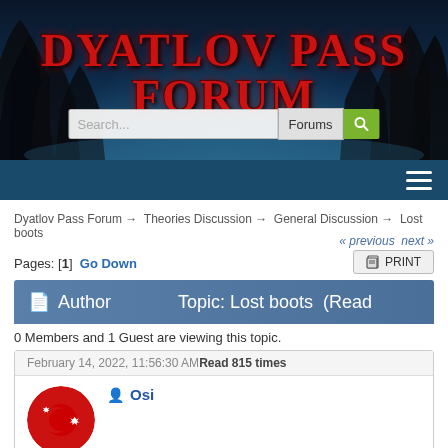[Figure (screenshot): Dyatlov Pass Forum website header with dark blue night sky and tree silhouettes background, large red bold title text 'DYATLOV PASS FORUM', search bar with 'Search...' placeholder, 'Forums' dropdown, green search button with magnifying glass icon, and dark blue navigation bar with hamburger menu icon]
Dyatlov Pass Forum → Theories Discussion → General Discussion → Lost boots
« previous next »
Pages: [1]  Go Down
Author    Topic: Lost boots  (Read
0 Members and 1 Guest are viewing this topic.
February 14, 2022, 11:56:30 AMRead 815 times
Osi